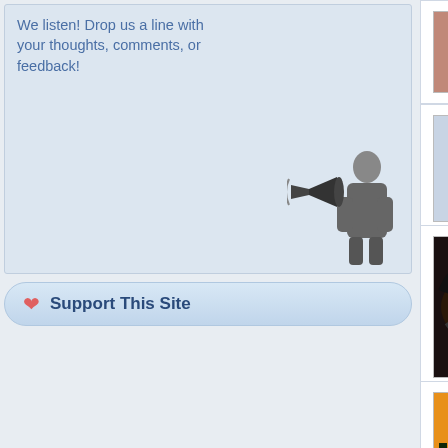We listen! Drop us a line with your thoughts, comments, or feedback!
❤ Support This Site
Beautiful +1f
Posted by Darksong on 09/15/17 at 04:0...
Beautiful
Posted by Alexandra66 on 09/15/17 at 0...
Pretty.
Posted by welcha on 09/15/17 at 01:51 P...
wonderful!!
View All Co...
Desktop Nexus
Home
About Us
Popular Wallpapers
Popular Tags
Community Stats
Member List
Contact Us
Tags of the Moment
Backgrounds of Flowers
Garden Images
Church Images
Obama Wallpapers
Sunset Wallpapers
Thanksgiving Wallpapers
Christmas Wallpapers
Recently Active...
Women Wallpa...
Pretty Woman Pi...
People Pictures ...
Wallpapers of Fa...
Black and White ...
Images of Beaut...
Summer Pictu...